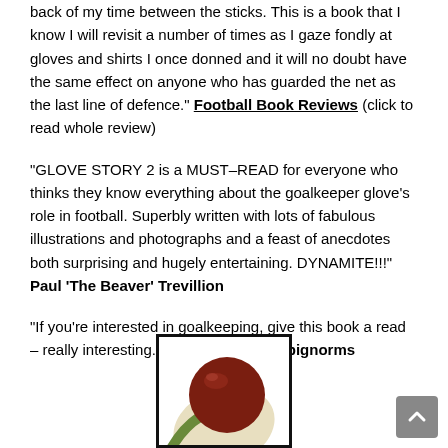back of my time between the sticks. This is a book that I know I will revisit a number of times as I gaze fondly at gloves and shirts I once donned and it will no doubt have the same effect on anyone who has guarded the net as the last line of defence." Football Book Reviews (click to read whole review)
"GLOVE STORY 2 is a MUST–READ for everyone who thinks they know everything about the goalkeeper glove's role in football. Superbly written with lots of fabulous illustrations and photographs and a feast of anecdotes both surprising and hugely entertaining. DYNAMITE!!!" Paul 'The Beaver' Trevillion
"If you're interested in goalkeeping, give this book a read – really interesting." Mark Crossley @bignorms
[Figure (illustration): Book cover or logo illustration showing a dark red/maroon sphere and a curved cream/green shape on white background, framed with a black border]